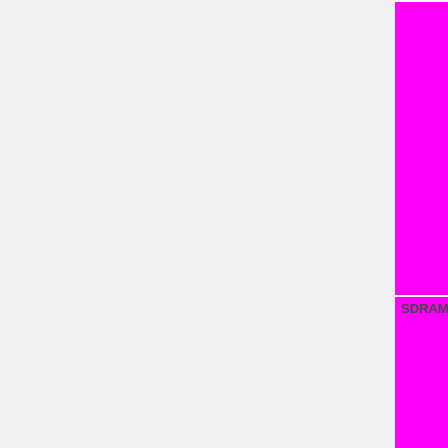| Component | Status Legend |
| --- | --- |
|  | TODO=red | No=red | WIP=orange Untested=yellow | N/A=lightgray yellow }}" | N/A |
| SDRAM | OK=lime | TODO=red | No=red | WIP=orange Untested=yellow | N/A=lightgray yellow }}" | N/A |
| SO-DIMM | OK=lime | TODO=red | No=red | WIP=orange Untested=yellow | N/A=lightgray yellow }}" | N/A |
| DDR | OK=lime | TODO=red | No=red | |